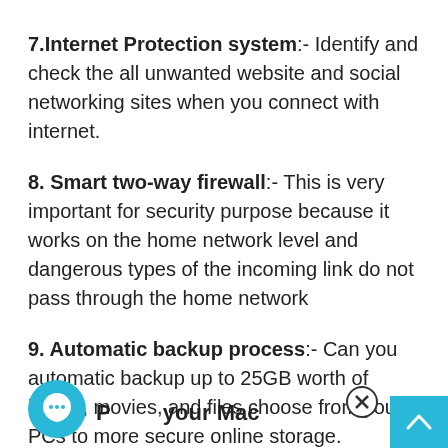7.Internet Protection system:- Identify and check the all unwanted website and social networking sites when you connect with internet.
8. Smart two-way firewall:- This is very important for security purpose because it works on the home network level and dangerous types of the incoming link do not pass through the home network
9. Automatic backup process:- Can you automatic backup up to 25GB worth of image, movies, and files choose from your PCs to more secure online storage.
P... your Mac